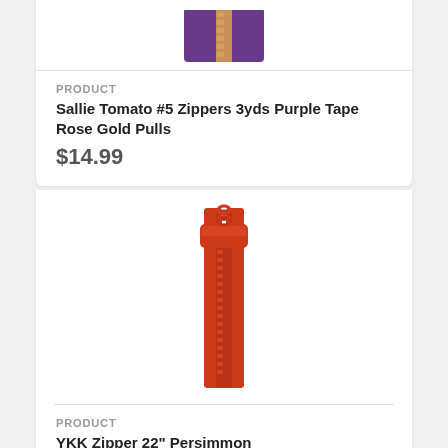[Figure (photo): Purple zipper with rose gold pulls, product image cropped at top]
PRODUCT
Sallie Tomato #5 Zippers 3yds Purple Tape Rose Gold Pulls
$14.99
[Figure (photo): Red/persimmon colored zipper, full length, shown vertically with pull tab at top]
PRODUCT
YKK Zipper 22" Persimmon
$9.99